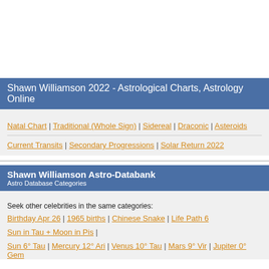Shawn Williamson 2022 - Astrological Charts, Astrology Online
Natal Chart | Traditional (Whole Sign) | Sidereal | Draconic | Asteroids
Current Transits | Secondary Progressions | Solar Return 2022
Shawn Williamson Astro-Databank
Astro Database Categories
Seek other celebrities in the same categories:
Birthday Apr 26 | 1965 births | Chinese Snake | Life Path 6
Sun in Tau + Moon in Pis |
Sun 6° Tau | Mercury 12° Ari | Venus 10° Tau | Mars 9° Vir | Jupiter 0° Gem